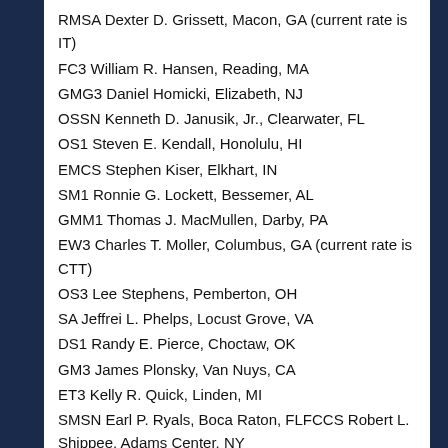RMSA Dexter D. Grissett, Macon, GA (current rate is IT)
FC3 William R. Hansen, Reading, MA
GMG3 Daniel Homicki, Elizabeth, NJ
OSSN Kenneth D. Janusik, Jr., Clearwater, FL
OS1 Steven E. Kendall, Honolulu, HI
EMCS Stephen Kiser, Elkhart, IN
SM1 Ronnie G. Lockett, Bessemer, AL
GMM1 Thomas J. MacMullen, Darby, PA
EW3 Charles T. Moller, Columbus, GA (current rate is CTT)
OS3 Lee Stephens, Pemberton, OH
SA Jeffrei L. Phelps, Locust Grove, VA
DS1 Randy E. Pierce, Choctaw, OK
GM3 James Plonsky, Van Nuys, CA
ET3 Kelly R. Quick, Linden, MI
SMSN Earl P. Ryals, Boca Raton, FLFCCS Robert L. Shippee, Adams Center, NY